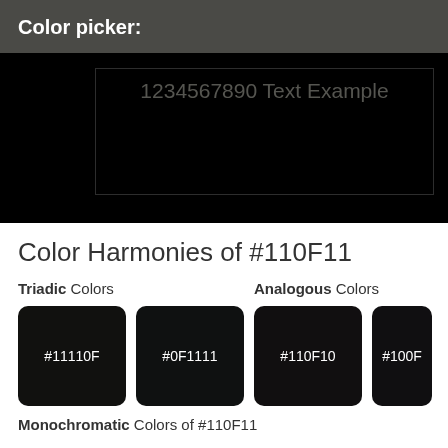Color picker:
[Figure (screenshot): Black color preview area with text '1234567890 Text Example' in dark gray on a black background, with a rectangular border outline]
Color Harmonies of #110F11
Triadic Colors
Analogous Colors
[Figure (infographic): Color swatch #11110F - near black dark square]
[Figure (infographic): Color swatch #0F1111 - near black dark square]
[Figure (infographic): Color swatch #110F10 - near black dark square]
[Figure (infographic): Color swatch #100F (partial) - near black dark square]
Monochromatic Colors of #110F11